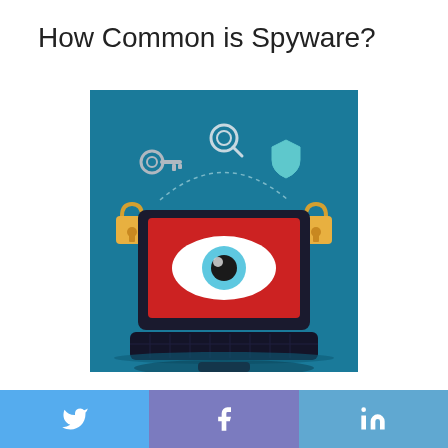How Common is Spyware?
[Figure (illustration): Illustration of a laptop with a red screen displaying a large eye (spyware symbol), surrounded by security icons: a key, a magnifying glass, a shield, and two padlocks, all on a teal/dark blue background.]
Twitter | Facebook | LinkedIn social share buttons